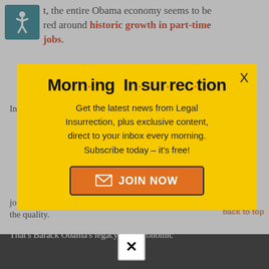t, the entire Obama economy seems to be centered around historic growth in part-time jobs.
In June the BLS [Bureau of Labor Statistics]
[Figure (screenshot): Morning Insurrection modal popup with yellow background. Title reads 'Morn·ing In·sur·rec·tion'. Body text: 'Get the latest news from Legal Insurrection, plus exclusive content, direct to your inbox every morning. Subscribe today – it's free!' Orange JOIN NOW button with envelope icon. X close button top right.]
jobs, it is only the quantity that matters, never the quality.
That's Barack Obama's legacy. The economic "recovery" since...